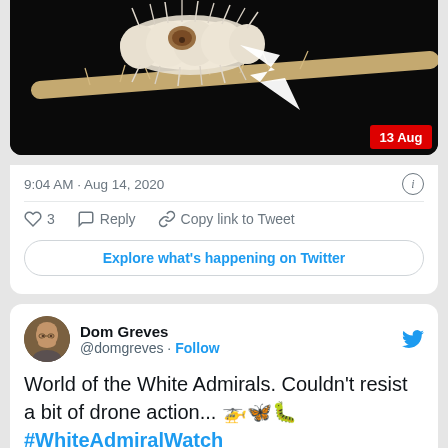[Figure (screenshot): Close-up macro photo of a hairy caterpillar on a twig against black background, with white arrow pointing to a detail. Red badge reads '13 Aug' in bottom right.]
9:04 AM · Aug 14, 2020
3  Reply  Copy link to Tweet
Explore what's happening on Twitter
[Figure (screenshot): Twitter profile avatar of Dom Greves, a bald man with glasses]
Dom Greves @domgreves · Follow
World of the White Admirals. Couldn't resist a bit of drone action... 🚁🦋🐛 #WhiteAdmiralWatch
[Figure (map): Aerial/drone map view of a woodland area, green tree canopy, with pin markers and Map label in top left corner]